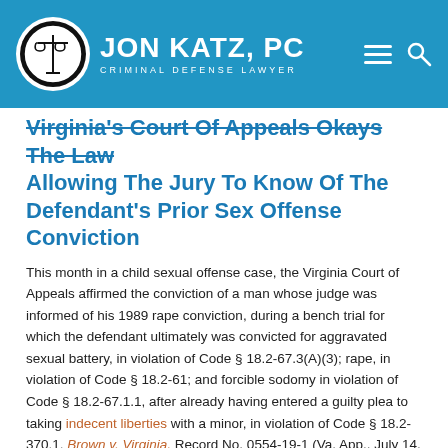Jon Katz, PC — Criminal Defense Lawyer
Virginia's Court Of Appeals Okays The Law Allowing The Jury To Know Of The Defendant's Prior Sex Offense Conviction
This month in a child sexual offense case, the Virginia Court of Appeals affirmed the conviction of a man whose judge was informed of his 1989 rape conviction, during a bench trial for which the defendant ultimately was convicted for aggravated sexual battery, in violation of Code § 18.2-67.3(A)(3); rape, in violation of Code § 18.2-61; and forcible sodomy in violation of Code § 18.2-67.1.1, after already having entered a guilty plea to taking indecent liberties with a minor, in violation of Code § 18.2-370.1. Brown v. Virginia, Record No. 0554-19-1 (Va. App., July 14, 2020) (unpublished).
In arguing that the balancing test for relevance under Va. S. Ct. R. 4-203 made his 1989 out-of-state rape conviction inadmissible